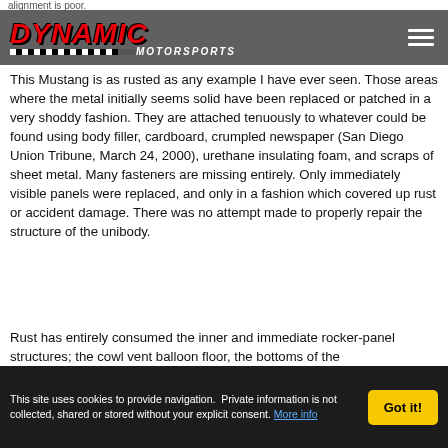Dynamic Motorsports
This Mustang is as rusted as any example I have ever seen. Those areas where the metal initially seems solid have been replaced or patched in a very shoddy fashion. They are attached tenuously to whatever could be found using body filler, cardboard, crumpled newspaper (San Diego Union Tribune, March 24, 2000), urethane insulating foam, and scraps of sheet metal. Many fasteners are missing entirely. Only immediately visible panels were replaced, and only in a fashion which covered up rust or accident damage. There was no attempt made to properly repair the structure of the unibody.
Rust has entirely consumed the inner and immediate rocker-panel structures; the cowl vent balloon floor, the bottoms of the
This site uses cookies to provide navigation. Private information is not collected, shared or stored without your explicit consent. More info